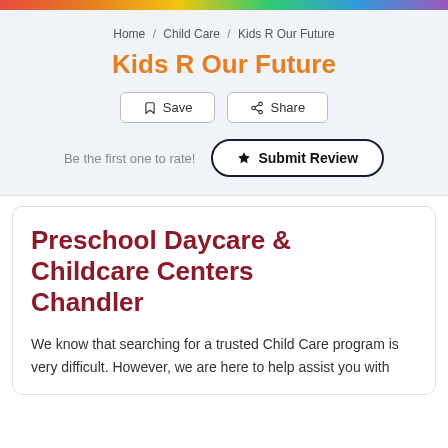Home / Child Care / Kids R Our Future
Kids R Our Future
Save   Share
Be the first one to rate!   ★ Submit Review
Preschool Daycare & Childcare Centers Chandler
We know that searching for a trusted Child Care program is very difficult. However, we are here to help assist you with